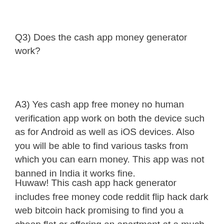Q3) Does the cash app money generator work?
A3) Yes cash app free money no human verification app work on both the device such as for Android as well as iOS devices. Also you will be able to find various tasks from which you can earn money. This app was not banned in India it works fine.
Huwaw! This cash app hack generator includes free money code reddit flip hack dark web bitcoin hack promising to find you a cheap flat or offering an apartment at a much slower speed than normal but demanding you to ship them a deposit first (e.g. before